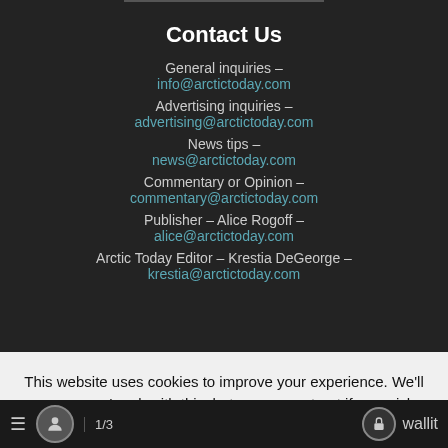Contact Us
General inquiries –
info@arctictoday.com
Advertising inquiries –
advertising@arctictoday.com
News tips –
news@arctictoday.com
Commentary or Opinion –
commentary@arctictoday.com
Publisher – Alice Rogoff –
alice@arctictoday.com
Arctic Today Editor – Krestia DeGeorge –
krestia@arctictoday.com
This website uses cookies to improve your experience. We'll assume you're ok with this, but you can opt-out if you wish.
1/3  wallit